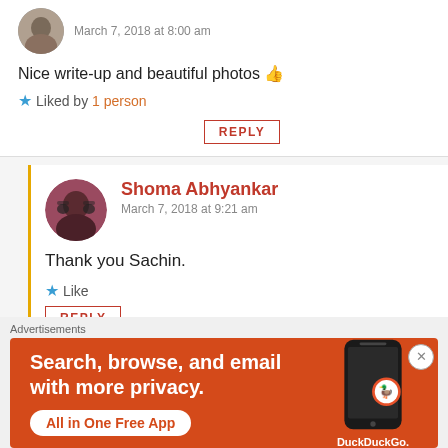March 7, 2018 at 8:00 am
Nice write-up and beautiful photos 👍
★ Liked by 1 person
REPLY
Shoma Abhyankar
March 7, 2018 at 9:21 am
Thank you Sachin.
★ Like
REPLY
Advertisements
[Figure (illustration): DuckDuckGo advertisement banner: orange background with text 'Search, browse, and email with more privacy. All in One Free App' and DuckDuckGo logo with phone image]